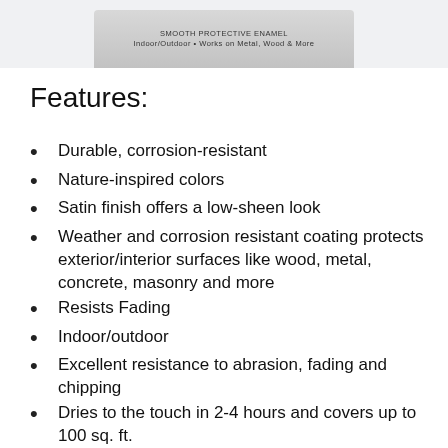[Figure (photo): Partial product image of a paint can with label showing 'SMOOTH PROTECTIVE ENAMEL, Indoor/Outdoor • Works on Metal, Wood & More']
Features:
Durable, corrosion-resistant
Nature-inspired colors
Satin finish offers a low-sheen look
Weather and corrosion resistant coating protects exterior/interior surfaces like wood, metal, concrete, masonry and more
Resists Fading
Indoor/outdoor
Excellent resistance to abrasion, fading and chipping
Dries to the touch in 2-4 hours and covers up to 100 sq. ft.